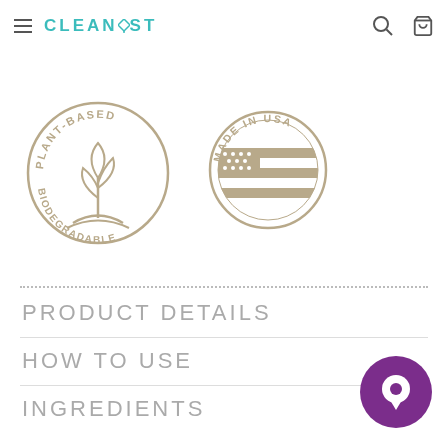CLEANYST
[Figure (logo): Plant-based biodegradable circular badge with plant illustration]
[Figure (logo): Made in USA circular badge with American flag illustration]
PRODUCT DETAILS
HOW TO USE
INGREDIENTS
[Figure (illustration): Purple circular chat/support button]